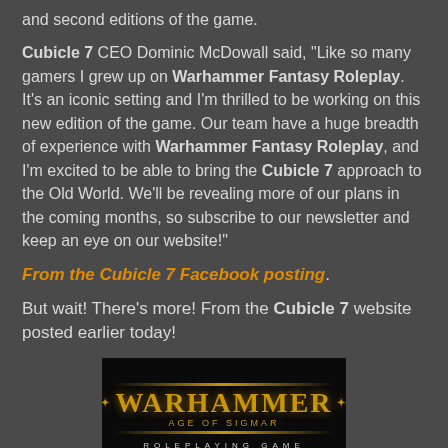and second editions of the game.
Cubicle 7 CEO Dominic McDowall said, "Like so many gamers I grew up on Warhammer Fantasy Roleplay. It's an iconic setting and I'm thrilled to be working on this new edition of the game. Our team have a huge breadth of experience with Warhammer Fantasy Roleplay, and I'm excited to be able to bring the Cubicle 7 approach to the Old World. We'll be revealing more of our plans in the coming months, so subscribe to our newsletter and keep an eye on our website!"
From the Cubicle 7 Facebook posting.
But wait! There's more! From the Cubicle 7 website posted earlier today!
[Figure (logo): Warhammer Age of Sigmar Roleplaying Game logo on black background with golden decorative text]